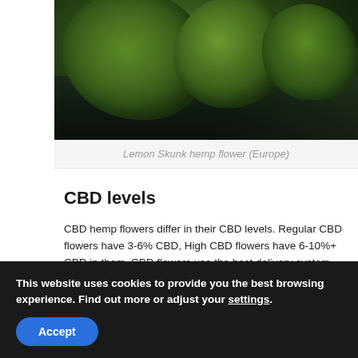[Figure (photo): Close-up photograph of cannabis hemp flower buds on a dark background]
Lemon Skunk hemp flower (Europe)
CBD levels
CBD hemp flowers differ in their CBD levels. Regular CBD flowers have 3-6% CBD, High CBD flowers have 6-10%+ CBD in them. CBD flowers use the best delivery system (smoking/vaping) with the most instant ability for relief and therapeutic results. You might not always feel the difference in CBD levels, but...
This website uses cookies to provide you the best browsing experience. Find out more or adjust your settings.
Accept